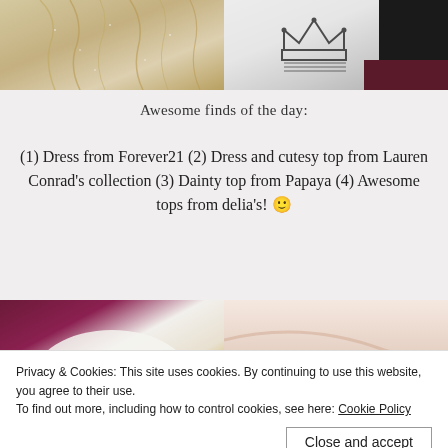[Figure (photo): Two clothing photos at top: left shows a cream/beige pleated fabric with shimmer detail (dress from Forever21), right shows a white t-shirt with crown graphic on dark background (Lauren Conrad collection)]
Awesome finds of the day:
(1) Dress from Forever21 (2) Dress and cutesy top from Lauren Conrad's collection (3) Dainty top from Papaya (4) Awesome tops from delia's! 🙂
[Figure (photo): Two clothing detail photos at bottom: left shows a clothing label/tag with gold hardware on white fabric with maroon background, right shows a smooth pale pink/nude fabric detail]
Privacy & Cookies: This site uses cookies. By continuing to use this website, you agree to their use.
To find out more, including how to control cookies, see here: Cookie Policy
Close and accept